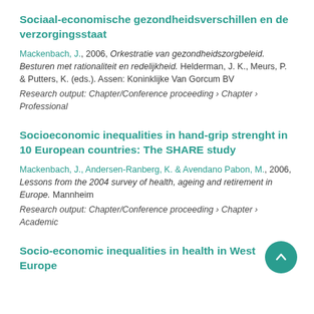Sociaal-economische gezondheidsverschillen en de verzorgingsstaat
Mackenbach, J., 2006, Orkestratie van gezondheidszorgbeleid. Besturen met rationaliteit en redelijkheid. Helderman, J. K., Meurs, P. & Putters, K. (eds.). Assen: Koninklijke Van Gorcum BV
Research output: Chapter/Conference proceeding › Chapter › Professional
Socioeconomic inequalities in hand-grip strenght in 10 European countries: The SHARE study
Mackenbach, J., Andersen-Ranberg, K. & Avendano Pabon, M., 2006, Lessons from the 2004 survey of health, ageing and retirement in Europe. Mannheim
Research output: Chapter/Conference proceeding › Chapter › Academic
Socio-economic inequalities in health in West Europe